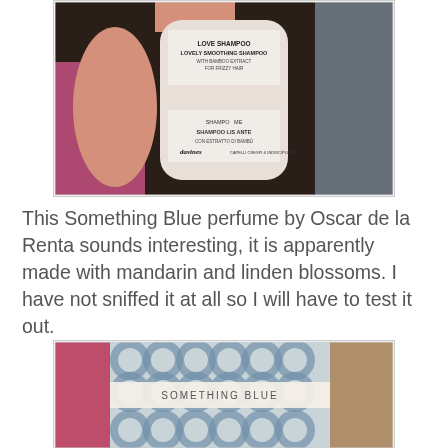[Figure (photo): A hand holding a white cylindrical shampoo bottle with text on the label reading LOVE SHAMPOO, LOVELY SMOOTHING SHAMPOO, with additional text including SHAMPOO and branded logo (davines), against a blurred pink and grey background.]
This Something Blue perfume by Oscar de la Renta sounds interesting, it is apparently made with mandarin and linden blossoms. I have not sniffed it at all so I will have to test it out.
[Figure (photo): A close-up photo of a perfume box with a blue and cream paisley/circular pattern design, with text reading SOMETHING BLUE in the center, held by a hand with pink sleeve visible.]